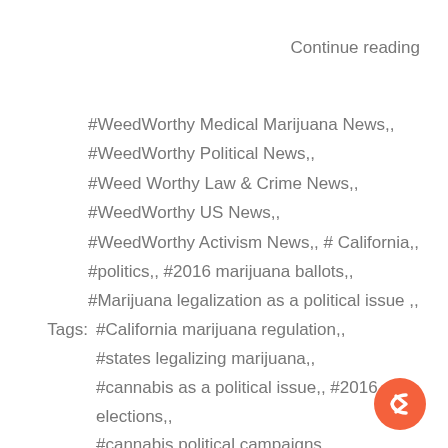Continue reading
#WeedWorthy Medical Marijuana News,,
#WeedWorthy Political News,,
#Weed Worthy Law & Crime News,,
#WeedWorthy US News,,
#WeedWorthy Activism News,, # California,,
#politics,, #2016 marijuana ballots,,
#Marijuana legalization as a political issue ,,
Tags: #California marijuana regulation,,
#states legalizing marijuana,,
#cannabis as a political issue,, #2016 elections,,
#cannabis political campaigns,,
#California economy and marijuana,,
#states legalizing medical marijuana,,
#California and marijuana legalization,,
#political parties,, #public health and marijuana,